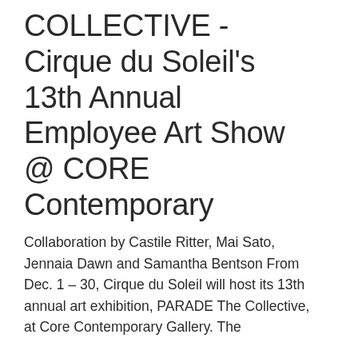COLLECTIVE - Cirque du Soleil's 13th Annual Employee Art Show @ CORE Contemporary
Collaboration by Castile Ritter, Mai Sato, Jennaia Dawn and Samantha Bentson From Dec. 1 – 30, Cirque du Soleil will host its 13th annual art exhibition, PARADE The Collective, at Core Contemporary Gallery. The